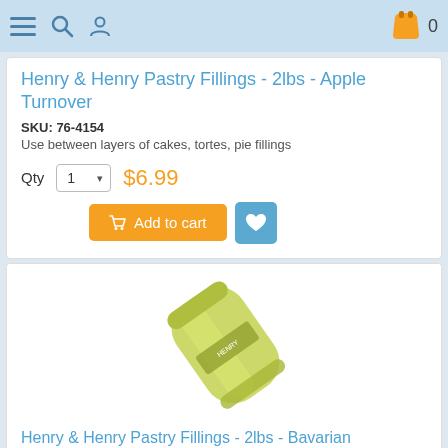Navigation bar with menu, search, user icons and cart
Henry & Henry Pastry Fillings - 2lbs - Apple Turnover
SKU: 76-4154
Use between layers of cakes, tortes, pie fillings
Qty 1  $6.99
Add to cart
[Figure (photo): Yellow-green pastry filling bag product photo]
Henry & Henry Pastry Fillings - 2lbs - Bavarian